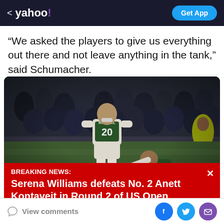< yahoo! | Get App
“We asked the players to give us everything out there and not leave anything in the tank,” said Schumacher.
[Figure (photo): Two soccer players wearing green and white jerseys on a pitch with a crowd in the background. One player wears number 20 with RANDELL on the back.]
BREAKING NEWS: Serena Williams defeats No. 2 Anett Kontaveit in Round 2 of US Open
View comments | Social share buttons: Facebook, Twitter, Email